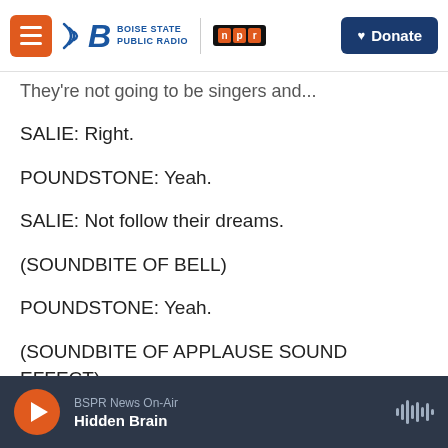Boise State Public Radio | NPR | Donate
They're not going to be singers and...
SALIE: Right.
POUNDSTONE: Yeah.
SALIE: Not follow their dreams.
(SOUNDBITE OF BELL)
POUNDSTONE: Yeah.
(SOUNDBITE OF APPLAUSE SOUND EFFECT)
SALIE: According to a new study, most kids aspire
BSPR News On-Air – Hidden Brain